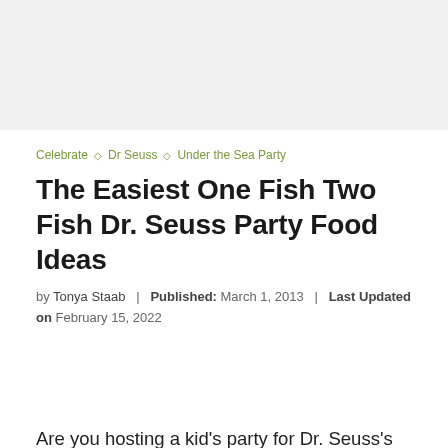[Figure (photo): Light gray placeholder image area at top of page]
Celebrate ◇ Dr Seuss ◇ Under the Sea Party
The Easiest One Fish Two Fish Dr. Seuss Party Food Ideas
by Tonya Staab | Published: March 1, 2013 | Last Updated on February 15, 2022
Are you hosting a kid's party for Dr. Seuss's birthday or World Book Day? We have the easiest One Fish, Two Fish Dr. Seuss party food ideas.